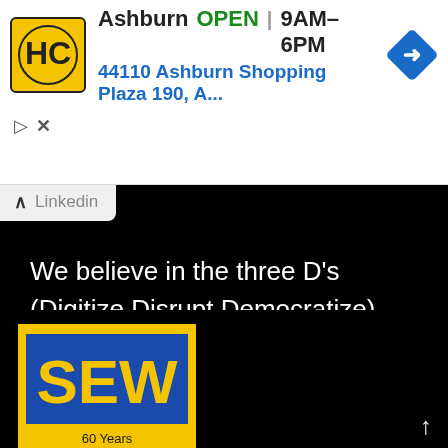[Figure (screenshot): Ad banner for HC automotive/service in Ashburn showing logo, OPEN status, hours 9AM-6PM, address 44110 Ashburn Shopping Plaza 190, A..., and blue navigation diamond icon]
Ashburn  OPEN  9AM–6PM
44110 Ashburn Shopping Plaza 190, A...
Linkedin
We believe in the three D's (Digitize,Disrupt,Democratize) and are focused on building drone based solutions for industries, key to GDP
[Figure (logo): SEW logo on yellow background with blue SEW letters and slogan '60 Years of Excellence']